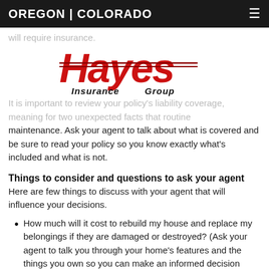OREGON | COLORADO
will require insurance.
[Figure (logo): Hayes Insurance Group logo in red and black lettering]
It is important to review your policy's liability coverage, meaning for two unexpected facts that routine maintenance. Ask your agent to talk about what is covered and be sure to read your policy so you know exactly what's included and what is not.
Things to consider and questions to ask your agent
Here are few things to discuss with your agent that will influence your decisions.
How much will it cost to rebuild my house and replace my belongings if they are damaged or destroyed? (Ask your agent to talk you through your home's features and the things you own so you can make an informed decision about coverage.) Does the insurance company have a good reputation for customer service? Is it known for paying claims fairly and promptly?